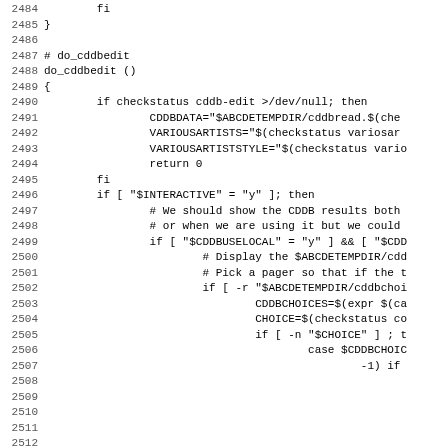Source code listing, lines 2484-2515, shell script with do_cddbedit function